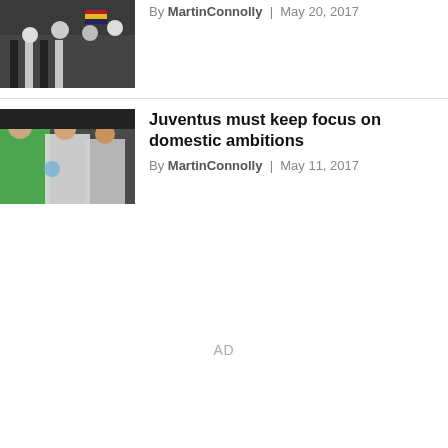[Figure (photo): Juventus fans or players celebrating, crowd with flags including Venezuelan flag, black and white striped jerseys visible]
By MartinConnolly | May 20, 2017
[Figure (photo): Juventus goalkeeper in green jersey celebrating with teammates in white jerseys, Champions League badge visible]
Juventus must keep focus on domestic ambitions
By MartinConnolly | May 11, 2017
AD